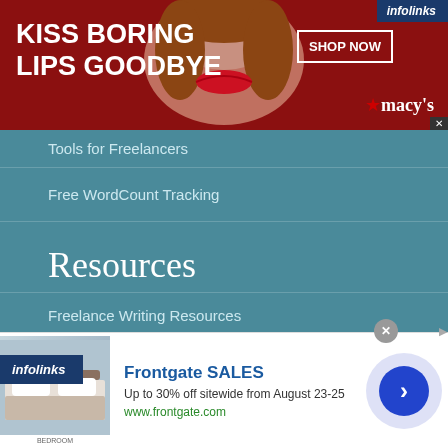[Figure (screenshot): Macy's advertisement banner with red background. Text: KISS BORING LIPS GOODBYE. Photo of woman with red lips in center. SHOP NOW button. Macy's logo with star. infolinks badge top right.]
Tools for Freelancers
Free WordCount Tracking
Resources
Freelance Writing Resources
Resources for Writers
[Figure (screenshot): infolinks logo badge at bottom left of teal section]
[Figure (screenshot): Frontgate SALES advertisement. Shows bedroom image. Text: Frontgate SALES, Up to 30% off sitewide from August 23-25, www.frontgate.com. Arrow circle button on right. Close X button.]